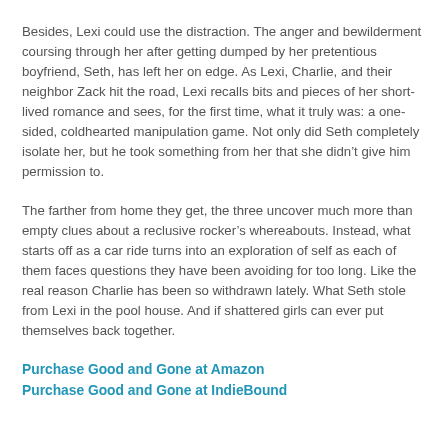Besides, Lexi could use the distraction. The anger and bewilderment coursing through her after getting dumped by her pretentious boyfriend, Seth, has left her on edge. As Lexi, Charlie, and their neighbor Zack hit the road, Lexi recalls bits and pieces of her short-lived romance and sees, for the first time, what it truly was: a one-sided, coldhearted manipulation game. Not only did Seth completely isolate her, but he took something from her that she didn't give him permission to.
The farther from home they get, the three uncover much more than empty clues about a reclusive rocker's whereabouts. Instead, what starts off as a car ride turns into an exploration of self as each of them faces questions they have been avoiding for too long. Like the real reason Charlie has been so withdrawn lately. What Seth stole from Lexi in the pool house. And if shattered girls can ever put themselves back together.
Purchase Good and Gone at Amazon
Purchase Good and Gone at IndieBound